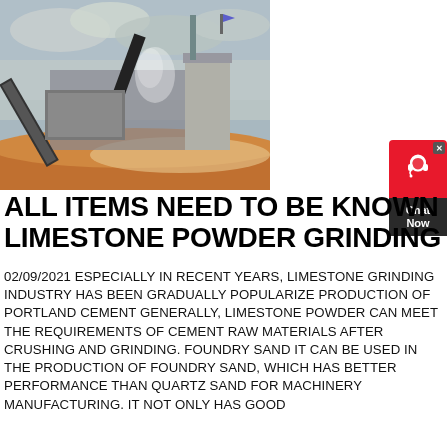[Figure (photo): Outdoor limestone grinding/crushing industrial plant with conveyor belts, machinery, and excavated terrain under cloudy sky.]
ALL ITEMS NEED TO BE KNOWN LIMESTONE POWDER GRINDING
02/09/2021 ESPECIALLY IN RECENT YEARS, LIMESTONE GRINDING INDUSTRY HAS BEEN GRADUALLY POPULARIZE PRODUCTION OF PORTLAND CEMENT GENERALLY, LIMESTONE POWDER CAN MEET THE REQUIREMENTS OF CEMENT RAW MATERIALS AFTER CRUSHING AND GRINDING. FOUNDRY SAND IT CAN BE USED IN THE PRODUCTION OF FOUNDRY SAND, WHICH HAS BETTER PERFORMANCE THAN QUARTZ SAND FOR MACHINERY MANUFACTURING. IT NOT ONLY HAS GOOD